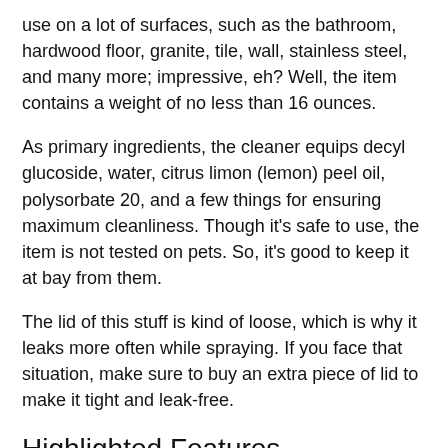use on a lot of surfaces, such as the bathroom, hardwood floor, granite, tile, wall, stainless steel, and many more; impressive, eh? Well, the item contains a weight of no less than 16 ounces.
As primary ingredients, the cleaner equips decyl glucoside, water, citrus limon (lemon) peel oil, polysorbate 20, and a few things for ensuring maximum cleanliness. Though it's safe to use, the item is not tested on pets. So, it's good to keep it at bay from them.
The lid of this stuff is kind of loose, which is why it leaks more often while spraying. If you face that situation, make sure to buy an extra piece of lid to make it tight and leak-free.
Highlighted Features
Lemon verbena scent is so refreshing
Pretty low in cost